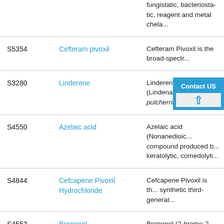| Catalog No. | Name | Description |
| --- | --- | --- |
|  |  | fungistatic, bacteriosta... reagent and metal che... |
| S5354 | Cefteram pivoxil | Cefteram Pivoxil is the broad-spectr... |
| S3280 | Linderene | Linderene (Lindenanolide... pulcherrima... |
| S4550 | Azelaic acid | Azelaic acid (Nonanedioic... compound produced b... keratolytic, comedolyti... |
| S4844 | Cefcapene Pivoxil Hydrochloride | Cefcapene Pivoxil is th... synthetic third-generat... |
| S4553 | Bronopol | Bronopol (2-bromo-2-n... preservative in cosme... |
| S5007 | Delamanid | Delamanid (ORC-6768... |